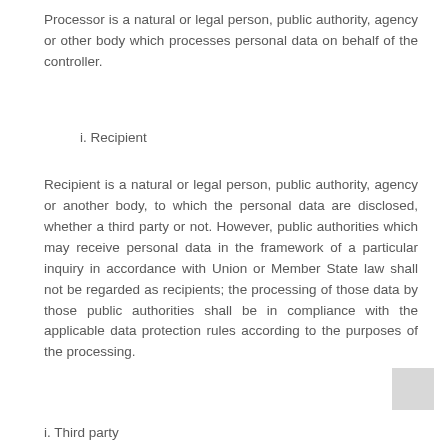Processor is a natural or legal person, public authority, agency or other body which processes personal data on behalf of the controller.
i. Recipient
Recipient is a natural or legal person, public authority, agency or another body, to which the personal data are disclosed, whether a third party or not. However, public authorities which may receive personal data in the framework of a particular inquiry in accordance with Union or Member State law shall not be regarded as recipients; the processing of those data by those public authorities shall be in compliance with the applicable data protection rules according to the purposes of the processing.
i. Third party